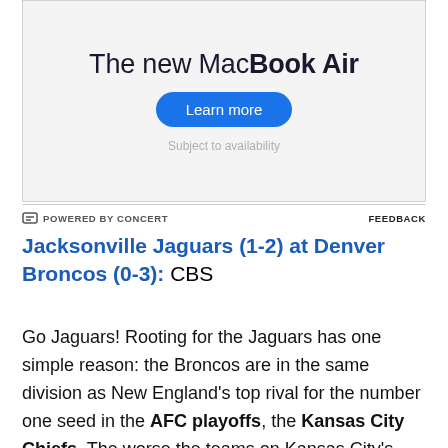[Figure (other): Advertisement banner for 'The new MacBook Air' with a 'Learn more' button and 'Subject to availability' subtext, powered by Concert.]
POWERED BY CONCERT   FEEDBACK
Jacksonville Jaguars (1-2) at Denver Broncos (0-3): CBS
Go Jaguars! Rooting for the Jaguars has one simple reason: the Broncos are in the same division as New England's top rival for the number one seed in the AFC playoffs, the Kansas City Chiefs. The worse the teams on Kansas City's schedule are, the worse become the tiebreakers for strength of schedule and